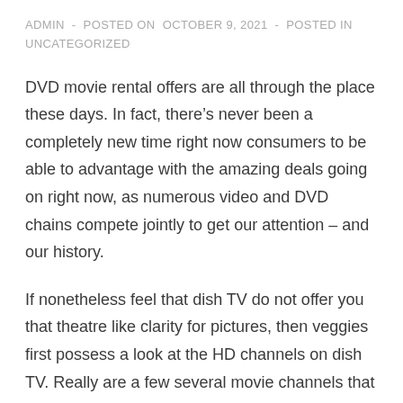ADMIN - POSTED ON OCTOBER 9, 2021 - POSTED IN UNCATEGORIZED
DVD movie rental offers are all through the place these days. In fact, there’s never been a completely new time right now consumers to be able to advantage with the amazing deals going on right now, as numerous video and DVD chains compete jointly to get our attention – and our history.
If nonetheless feel that dish TV do not offer you that theatre like clarity for pictures, then veggies first possess a look at the HD channels on dish TV. Really are a few several movie channels that come in HD mode. In this particular mode a viewer may possibly life-like picture quality. Thus